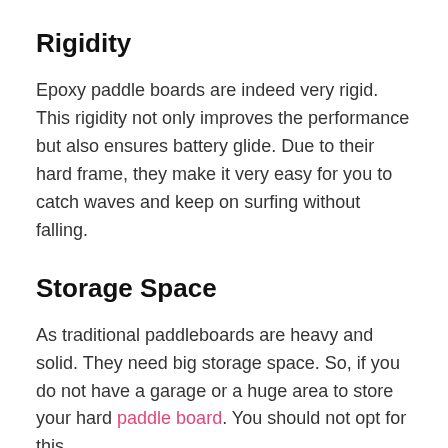Rigidity
Epoxy paddle boards are indeed very rigid. This rigidity not only improves the performance but also ensures battery glide. Due to their hard frame, they make it very easy for you to catch waves and keep on surfing without falling.
Storage Space
As traditional paddleboards are heavy and solid. They need big storage space. So, if you do not have a garage or a huge area to store your hard paddle board. You should not opt for this.
Bottom Line